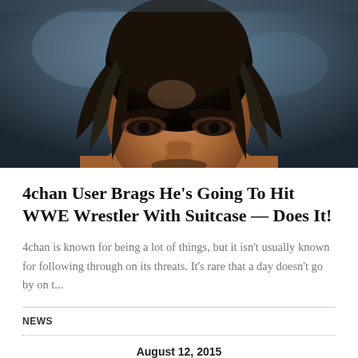[Figure (photo): Close-up photo of a male WWE wrestler with long dark wet hair, intense expression, dark eyes, against a blurred blue-toned background with stage lighting]
4chan User Brags He's Going To Hit WWE Wrestler With Suitcase — Does It!
4chan is known for being a lot of things, but it isn't usually known for following through on its threats. It's rare that a day doesn't go by on t...
NEWS
August 12, 2015